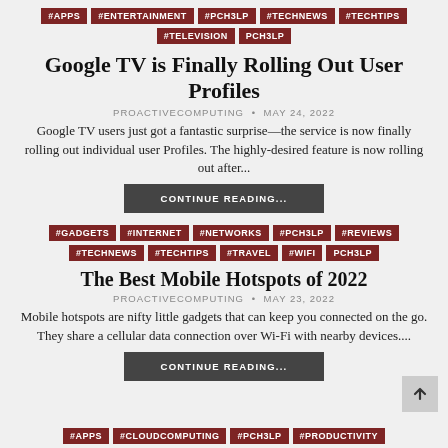#APPS #ENTERTAINMENT #PCH3LP #TECHNEWS #TECHTIPS #TELEVISION PCH3LP
Google TV is Finally Rolling Out User Profiles
PROACTIVECOMPUTING • MAY 24, 2022
Google TV users just got a fantastic surprise—the service is now finally rolling out individual user Profiles. The highly-desired feature is now rolling out after...
CONTINUE READING...
#GADGETS #INTERNET #NETWORKS #PCH3LP #REVIEWS #TECHNEWS #TECHTIPS #TRAVEL #WIFI PCH3LP
The Best Mobile Hotspots of 2022
PROACTIVECOMPUTING • MAY 23, 2022
Mobile hotspots are nifty little gadgets that can keep you connected on the go. They share a cellular data connection over Wi-Fi with nearby devices....
CONTINUE READING...
#APPS #CLOUDCOMPUTING #PCH3LP #PRODUCTIVITY